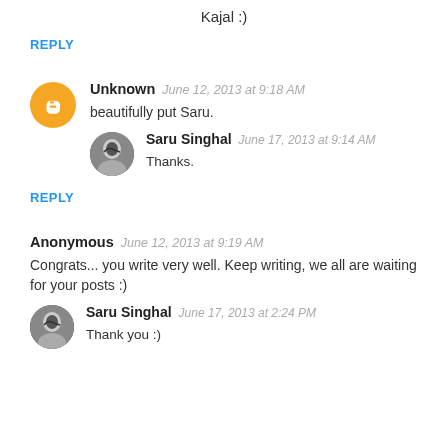Kajal :)
REPLY
Unknown   June 12, 2013 at 9:18 AM
beautifully put Saru.
Saru Singhal   June 17, 2013 at 9:14 AM
Thanks.
REPLY
Anonymous   June 12, 2013 at 9:19 AM
Congrats... you write very well. Keep writing, we all are waiting for your posts :)
Saru Singhal   June 17, 2013 at 2:24 PM
Thank you :)